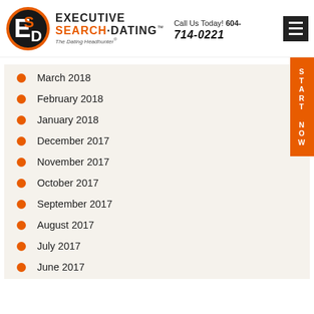[Figure (logo): Executive Search Dating logo - orange and black circular logo with letters E, S, D intertwined]
EXECUTIVE SEARCH·DATING™ The Dating Headhunter®  Call Us Today! 604-714-0221
March 2018
February 2018
January 2018
December 2017
November 2017
October 2017
September 2017
August 2017
July 2017
June 2017